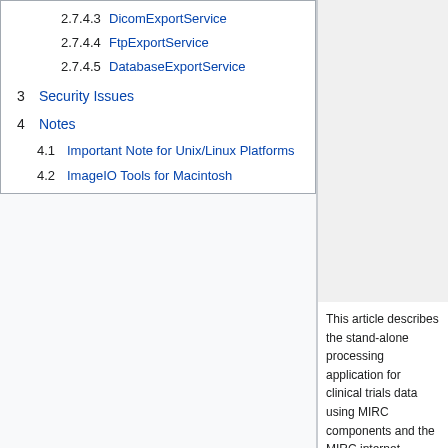2.7.4.3 DicomExportService
2.7.4.4 FtpExportService
2.7.4.5 DatabaseExportService
3 Security Issues
4 Notes
4.1 Important Note for Unix/Linux Platforms
4.2 ImageIO Tools for Macintosh
This article describes the stand-alone processing application for clinical trials data using MIRC components and the MIRC internet transport mechanism.
1 Background
MIRC supports clinical trials through two applications, one for data acquisition at an imaging center (FieldCenter) and one for management of the data at a